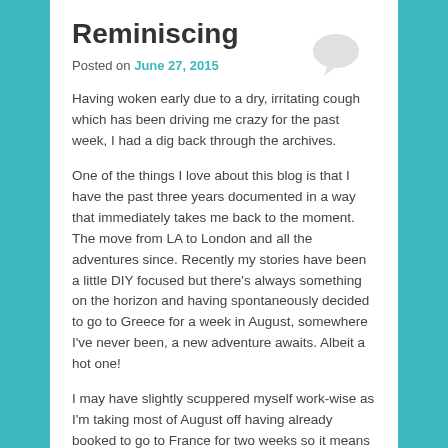Reminiscing
Posted on June 27, 2015
[Figure (illustration): Speech bubble icon in light gray, top-right corner]
Having woken early due to a dry, irritating cough which has been driving me crazy for the past week, I had a dig back through the archives.
One of the things I love about this blog is that I have the past three years documented in a way that immediately takes me back to the moment. The move from LA to London and all the adventures since. Recently my stories have been a little DIY focused but there’s always something on the horizon and having spontaneously decided to go to Greece for a week in August, somewhere I’ve never been, a new adventure awaits. Albeit a hot one!
I may have slightly scuppered myself work-wise as I’m taking most of August off having already booked to go to France for two weeks so it means that July is suddenly very busy. And I’m heading back to New York towards the end of July for another bi annual manic